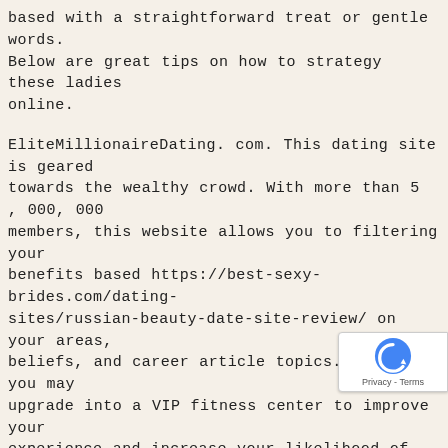based with a straightforward treat or gentle words. Below are great tips on how to strategy these ladies online.
EliteMillionaireDating.com. This dating site is geared towards the wealthy crowd. With more than 5,000,000 members, this website allows you to filtering your benefits based https://best-sexy-brides.com/dating-sites/russian-beauty-date-site-review/ on your areas, beliefs, and career article topics. Moreover, you may upgrade into a VIP fitness center to improve your experience and increase your likelihood of meeting rich single women. So, why not join the dating internet site today and begin meeting solitary ladies? You can find the perfect companion right away!
EliteSingles. Should you be looking for a severe relationship, EliteSingles is for you. EliteSingles compatible lonely women who are prompted to have
[Figure (other): reCAPTCHA badge with circular arrow icon and Privacy - Terms text]